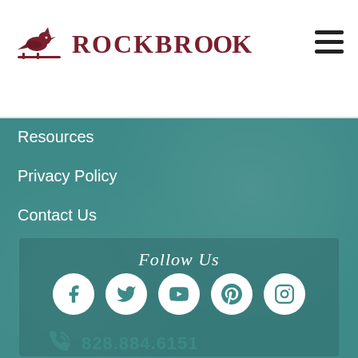[Figure (logo): Rockbrook camp logo with cardinal bird illustration and text ROCKBROOK in dark red serif font]
Resources
Privacy Policy
Contact Us
Follow Us
[Figure (infographic): Social media icons row: Facebook, Twitter, YouTube, Pinterest, Instagram — white circles on teal background]
828.884.6151